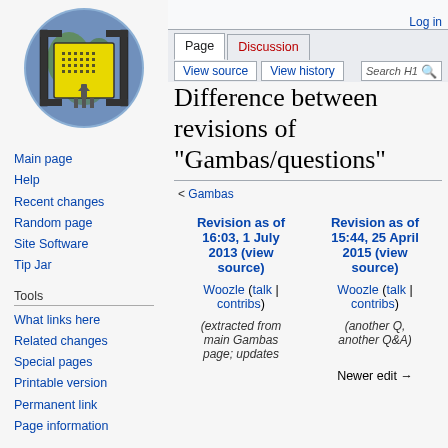[Figure (logo): Wikimedia/wiki logo: globe with yellow circuit chip emblem in brackets]
Main page
Help
Recent changes
Random page
Site Software
Tip Jar
Tools
What links here
Related changes
Special pages
Printable version
Permanent link
Page information
Log in
Difference between revisions of "Gambas/questions"
< Gambas
| Revision as of 16:03, 1 July 2013 (view source) | Revision as of 15:44, 25 April 2015 (view source) |
| --- | --- |
| Woozle (talk | contribs) | Woozle (talk | contribs) |
| (extracted from main Gambas page; updates | (another Q, another Q&A) |
|  | Newer edit → |